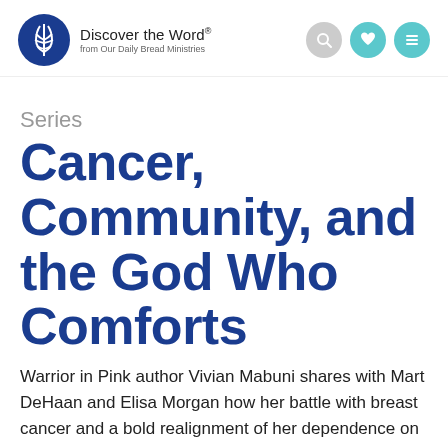Discover the Word. from Our Daily Bread Ministries
Series
Cancer, Community, and the God Who Comforts
Warrior in Pink author Vivian Mabuni shares with Mart DeHaan and Elisa Morgan how her battle with breast cancer and a bold realignment of her dependence on God...